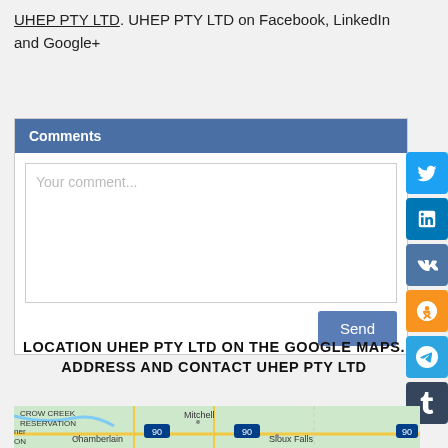UHEP PTY LTD. UHEP PTY LTD on Facebook, LinkedIn and Google+
Comments
Your comment...
LOCATION UHEP PTY LTD ON THE GOOGLE MAPS. ADDRESS AND CONTACT UHEP PTY LTD
[Figure (map): Google Maps showing location of UHEP PTY LTD in South Dakota area, including Chamberlain, Mitchell, and Sioux Falls]